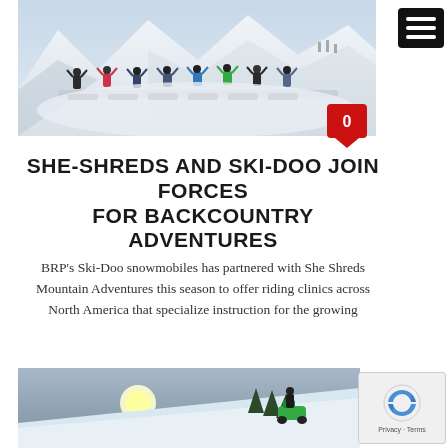[Figure (photo): Group of snowmobile riders on a snowy mountain slope with hands raised, celebrating. Snowmobiles and snowy peaks visible in the background.]
[Figure (infographic): Red notification badge with number 0 and downward pointing chat bubble shape.]
SHE-SHREDS AND SKI-DOO JOIN FORCES FOR BACKCOUNTRY ADVENTURES
BRP's Ski-Doo snowmobiles has partnered with She Shreds Mountain Adventures this season to offer riding clinics across North America that specialize instruction for the growing
[Figure (photo): Snowmobiler jumping or riding on a snow slope with trees and bright sunlight in the background, snowmobile is green.]